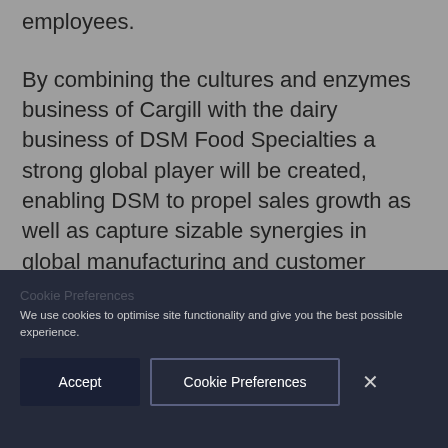employees.
By combining the cultures and enzymes business of Cargill with the dairy business of DSM Food Specialties a strong global player will be created, enabling DSM to propel sales growth as well as capture sizable synergies in global manufacturing and customer reach as well as innovation capabilities in biotechnology and SG&A.
We use cookies to optimise site functionality and give you the best possible experience.
Accept
Cookie Preferences